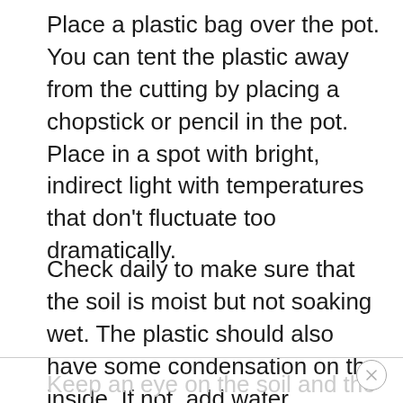Place a plastic bag over the pot. You can tent the plastic away from the cutting by placing a chopstick or pencil in the pot. Place in a spot with bright, indirect light with temperatures that don't fluctuate too dramatically.
Check daily to make sure that the soil is moist but not soaking wet. The plastic should also have some condensation on the inside. If not, add water.
Keep an eye on the soil and the